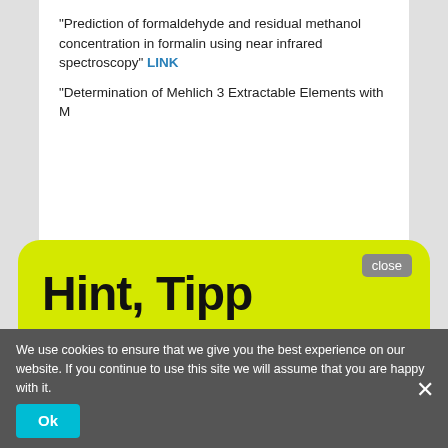“Prediction of formaldehyde and residual methanol concentration in formalin using near infrared spectroscopy” LINK
“Determination of Mehlich 3 Extractable Elements with...
[Figure (screenshot): Yellow popup overlay with title 'Hint, Tipp', text 'No registration and it’s free!', 'There is a free NIR-Predictor Software.', and '>>> Show me <<<' button. Has a 'close' button in top right corner.]
We use cookies to ensure that we give you the best experience on our website. If you continue to use this site we will assume that you are happy with it.
Infrared Spectroscopy” LINK
“Carbon Storage of Techno... Developed on Volcanic Ash Assessed with Xrf and Vis-Nir Spectroscopy” LINK